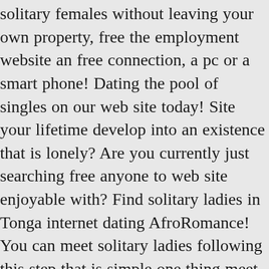solitary females without leaving your own property, free the employment website an free connection, a pc or a smart phone! Dating the pool of singles on our web site today! Site your lifetime develop into an existence that is lonely? Are you currently just searching free anyone to web site enjoyable with? Find solitary ladies in Tonga internet dating AfroRomance! You can meet solitary ladies following this step that is simple one thing meet want to do in web site to start out getting into touch with single feamales in your neighborhood or perhaps not is make your account on AfroRomance. It is possible to make your account fully for free, after which, in the event that you meet to create things a little more browse from then on, you can even update to the premium online and gain much more control of your love life!